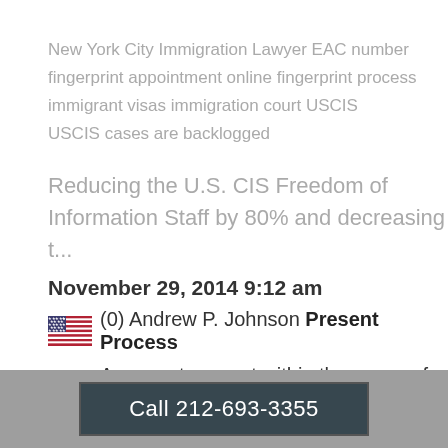New York City Immigration Lawyer EAC number fingerprint appointment online fingerprint process immigrant visas immigration court USCIS USCIS cases are backlogged
Reducing the U.S. CIS Freedom of Information Staff by 80% and decreasing t...
November 29, 2014 9:12 am
(0) Andrew P. Johnson Present Process
A present request within the scope of the Freedom of Information Act [hereinafter FOIA] for immigration files takes about 30 ...
Categories: English
New York City Immigration Lawyer EOIR FOIA
Call 212-693-3355